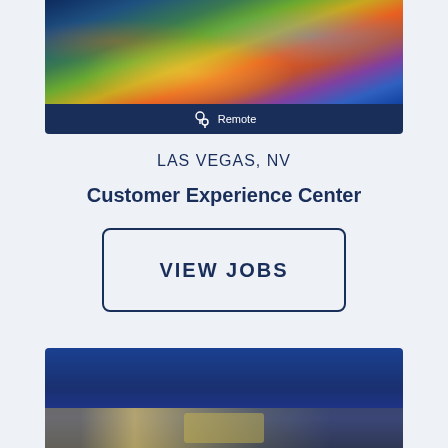[Figure (photo): Aerial night view of Las Vegas Strip with colorful lights and buildings]
Remote
LAS VEGAS, NV
Customer Experience Center
VIEW JOBS
[Figure (photo): Night cityscape with blue sky and illuminated buildings]